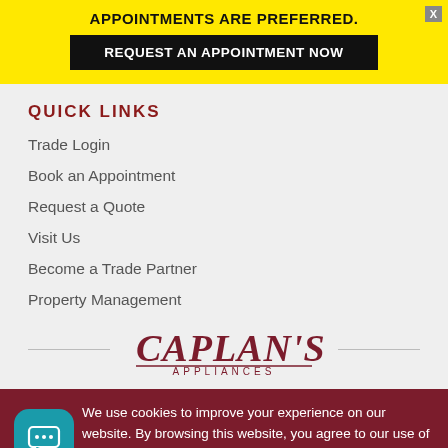APPOINTMENTS ARE PREFERRED.
REQUEST AN APPOINTMENT NOW
QUICK LINKS
Trade Login
Book an Appointment
Request a Quote
Visit Us
Become a Trade Partner
Property Management
[Figure (logo): Caplan's Appliances logo in dark red italic serif font with 'APPLIANCES' subtitle]
We use cookies to improve your experience on our website. By browsing this website, you agree to our use of cookies. For more information, please view our Privacy Policy